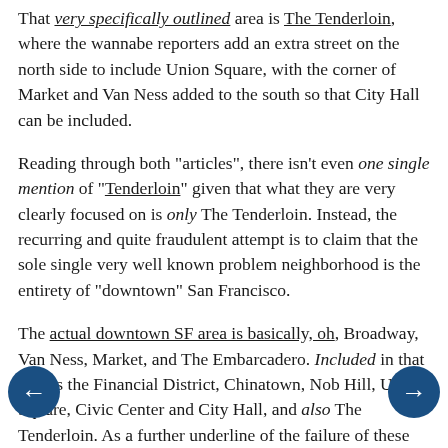That very specifically outlined area is The Tenderloin, where the wannabe reporters add an extra street on the north side to include Union Square, with the corner of Market and Van Ness added to the south so that City Hall can be included.
Reading through both "articles", there isn't even one single mention of "Tenderloin" given that what they are very clearly focused on is only The Tenderloin. Instead, the recurring and quite fraudulent attempt is to claim that the sole single very well known problem neighborhood is the entirety of "downtown" San Francisco.
The actual downtown SF area is basically, oh, Broadway, Van Ness, Market, and The Embarcadero. Included in that area is the Financial District, Chinatown, Nob Hill, Union Square, Civic Center and City Hall, and also The Tenderloin. As a further underline of the failure of these "reporters", compare that map of The Tenderloin with the entirety of San Francisco.